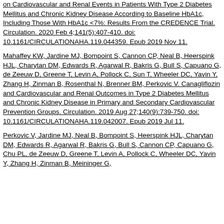on Cardiovascular and Renal Events in Patients With Type 2 Diabetes Mellitus and Chronic Kidney Disease According to Baseline HbA1c, Including Those With HbA1c <7%: Results From the CREDENCE Trial. Circulation. 2020 Feb 4;141(5):407-410. doi: 10.1161/CIRCULATIONAHA.119.044359. Epub 2019 Nov 11.
Mahaffey KW, Jardine MJ, Bompoint S, Cannon CP, Neal B, Heerspink HJL, Charytan DM, Edwards R, Agarwal R, Bakris G, Bull S, Capuano G, de Zeeuw D, Greene T, Levin A, Pollock C, Sun T, Wheeler DC, Yavin Y, Zhang H, Zinman B, Rosenthal N, Brenner BM, Perkovic V. Canagliflozin and Cardiovascular and Renal Outcomes in Type 2 Diabetes Mellitus and Chronic Kidney Disease in Primary and Secondary Cardiovascular Prevention Groups. Circulation. 2019 Aug 27;140(9):739-750. doi: 10.1161/CIRCULATIONAHA.119.042007. Epub 2019 Jul 11.
Perkovic V, Jardine MJ, Neal B, Bompoint S, Heerspink HJL, Charytan DM, Edwards R, Agarwal R, Bakris G, Bull S, Cannon CP, Capuano G, Chu PL, de Zeeuw D, Greene T, Levin A, Pollock C, Wheeler DC, Yavin Y, Zhang H, Zinman B, Meininger G,